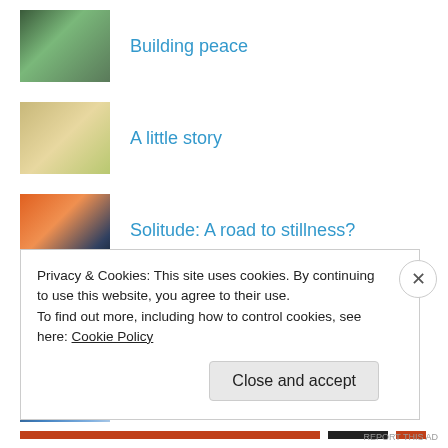[Figure (photo): Stacked stones balanced on water surface]
Building peace
[Figure (photo): Person with arms raised in a field]
A little story
[Figure (photo): Person silhouetted against sunset at water]
Solitude: A road to stillness?
[Figure (photo): Person with arms raised outdoors]
Walk in this now…
[Figure (photo): Ocean waves crashing]
Art of Self Removal
Privacy & Cookies: This site uses cookies. By continuing to use this website, you agree to their use. To find out more, including how to control cookies, see here: Cookie Policy